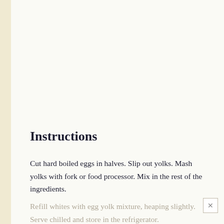Instructions
Cut hard boiled eggs in halves. Slip out yolks. Mash yolks with fork or food processor. Mix in the rest of the ingredients.
Refill whites with egg yolk mixture, heaping slightly. Serve chilled and store in the refrigerator.